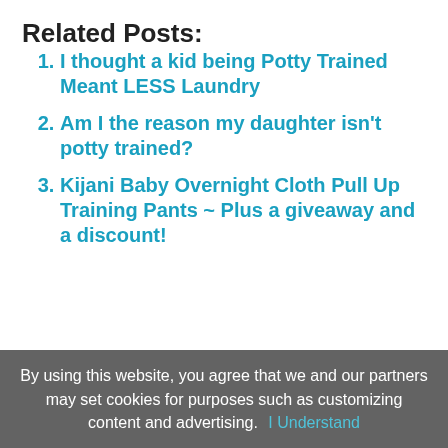Related Posts:
I thought a kid being Potty Trained Meant LESS Laundry
Am I the reason my daughter isn't potty trained?
Kijani Baby Overnight Cloth Pull Up Training Pants ~ Plus a giveaway and a discount!
FILED UNDER: POTTY TRAINING
TAGGED WITH: EC PRODUCTS, HOW TO POTTY TRAIN, MY CARRY POTTY, PORTABLE POTTY FOR CHILDREN, POTTY FOR THE CAR
By using this website, you agree that we and our partners may set cookies for purposes such as customizing content and advertising.  I Understand